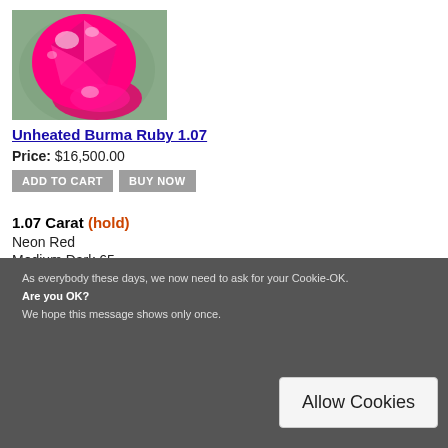[Figure (photo): Close-up photo of two pink/magenta faceted gemstones (Burma Ruby) on a gray background]
Unheated Burma Ruby 1.07
Price: $16,500.00
[Figure (other): ADD TO CART and BUY NOW buttons]
1.07 Carat (hold)
Neon Red
Medium Dark 65
Free of Inclusions
As everybody these days, we now need to ask for your Cookie-OK. Are you OK? We hope this message shows only once.